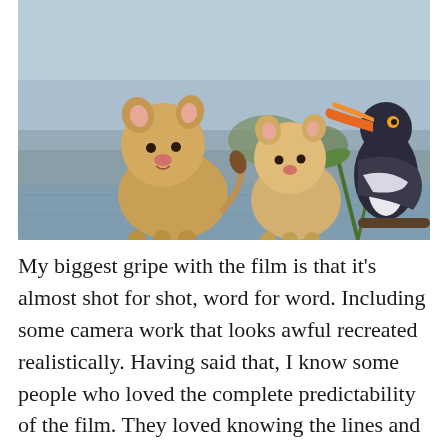[Figure (photo): Two lion cubs standing in shallow water with a large hornbill bird perched on the right side. Scene from what appears to be the 2019 Lion King live-action film.]
My biggest gripe with the film is that it's almost shot for shot, word for word. Including some camera work that looks awful recreated realistically. Having said that, I know some people who loved the complete predictability of the film. They loved knowing the lines and singing along with the songs. I have to admit that the trip down memory lane was both fun and impressive. So am